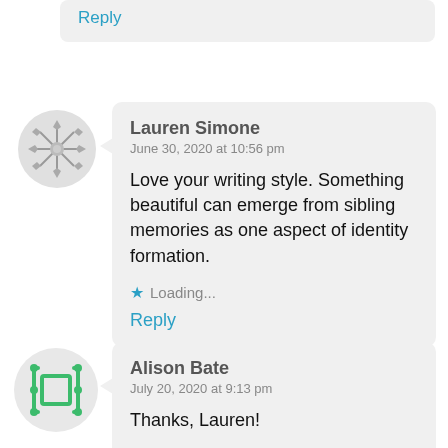Reply
[Figure (illustration): Grey avatar icon with snowflake/star geometric pattern for Lauren Simone]
Lauren Simone
June 30, 2020 at 10:56 pm

Love your writing style. Something beautiful can emerge from sibling memories as one aspect of identity formation.

★ Loading...

Reply
[Figure (illustration): Green avatar icon with square/bracket geometric pattern for Alison Bate]
Alison Bate
July 20, 2020 at 9:13 pm

Thanks, Lauren!